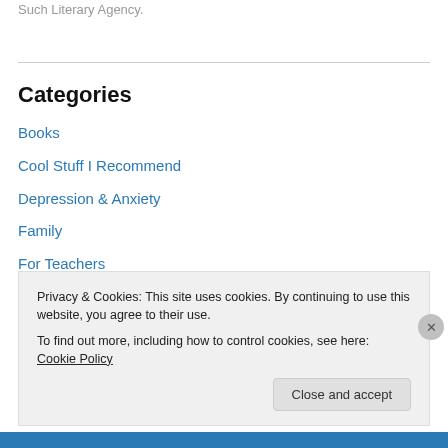Such Literary Agency.
Categories
Books
Cool Stuff I Recommend
Depression & Anxiety
Family
For Teachers
Infertility
Is It Okay To ____?
Just For Fun
Privacy & Cookies: This site uses cookies. By continuing to use this website, you agree to their use.
To find out more, including how to control cookies, see here: Cookie Policy
Close and accept